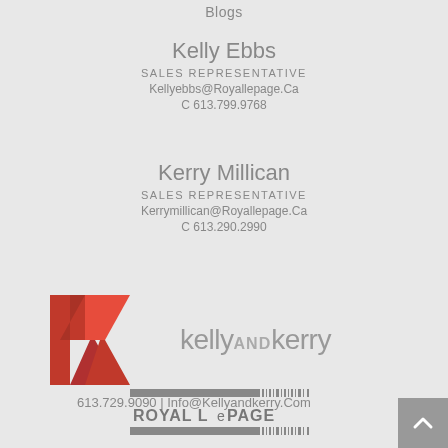Blogs
Kelly Ebbs
SALES REPRESENTATIVE
Kellyebbs@Royallepage.Ca
C 613.799.9768
Kerry Millican
SALES REPRESENTATIVE
Kerrymillican@Royallepage.Ca
C 613.290.2990
[Figure (logo): Kelly and Kerry logo with red double-chevron K icon and grey 'kellyANDkerry' text]
613.729.9090 | Info@Kellyandkerry.Com
[Figure (logo): Royal LePage logo with barcode-style graphic and text]